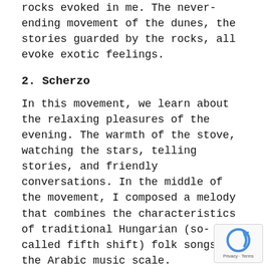rocks evoked in me. The never-ending movement of the dunes, the stories guarded by the rocks, all evoke exotic feelings.
2. Scherzo
In this movement, we learn about the relaxing pleasures of the evening. The warmth of the stove, watching the stars, telling stories, and friendly conversations. In the middle of the movement, I composed a melody that combines the characteristics of traditional Hungarian (so-called fifth shift) folk songs and the Arabic music scale.
3. The Night
The music of the third movement has no definite object, nor does it have a specific story. We medi the silence of the desert night. We forget the da and engage in responsibilities, external and inter...